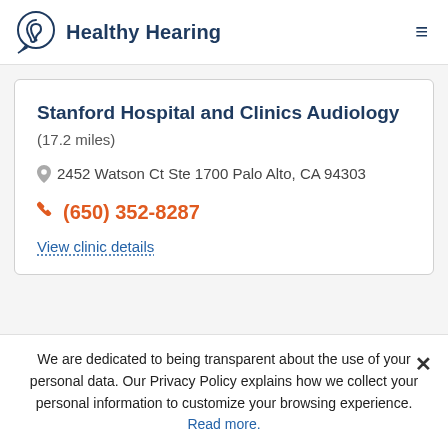Healthy Hearing
Stanford Hospital and Clinics Audiology (17.2 miles)
2452 Watson Ct Ste 1700 Palo Alto, CA 94303
(650) 352-8287
View clinic details
We are dedicated to being transparent about the use of your personal data. Our Privacy Policy explains how we collect your personal information to customize your browsing experience. Read more.